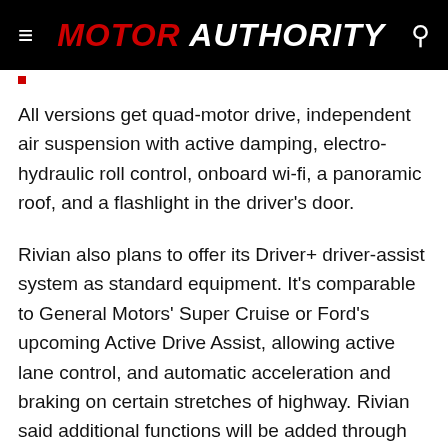MOTOR AUTHORITY
All versions get quad-motor drive, independent air suspension with active damping, electro-hydraulic roll control, onboard wi-fi, a panoramic roof, and a flashlight in the driver's door.
Rivian also plans to offer its Driver+ driver-assist system as standard equipment. It's comparable to General Motors' Super Cruise or Ford's upcoming Active Drive Assist, allowing active lane control, and automatic acceleration and braking on certain stretches of highway. Rivian said additional functions will be added through over-the-air updates.
Customers who pre-order an R1S or R1T will have early access to the online configurator beginning Nov. 16. Everyone else gets access